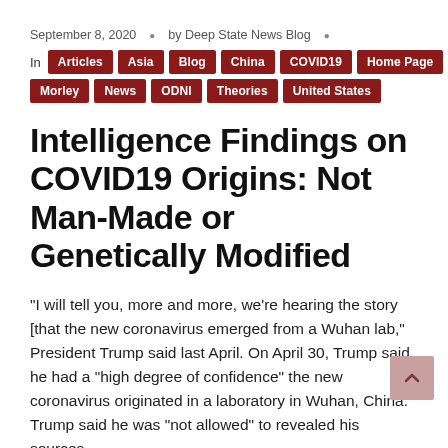September 8, 2020 · by Deep State News Blog ·
In Articles Asia Blog China COVID19 Home Page Morley News ODNI Theories United States
Intelligence Findings on COVID19 Origins: Not Man-Made or Genetically Modified
"I will tell you, more and more, we're hearing the story [that the new coronavirus emerged from a Wuhan lab," President Trump said last April. On April 30, Trump said he had a "high degree of confidence" the new coronavirus originated in a laboratory in Wuhan, China. Trump said he was "not allowed" to revealed his sources,...